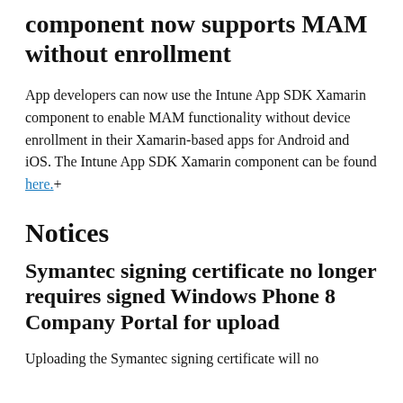component now supports MAM without enrollment
App developers can now use the Intune App SDK Xamarin component to enable MAM functionality without device enrollment in their Xamarin-based apps for Android and iOS. The Intune App SDK Xamarin component can be found here.+
Notices
Symantec signing certificate no longer requires signed Windows Phone 8 Company Portal for upload
Uploading the Symantec signing certificate will no